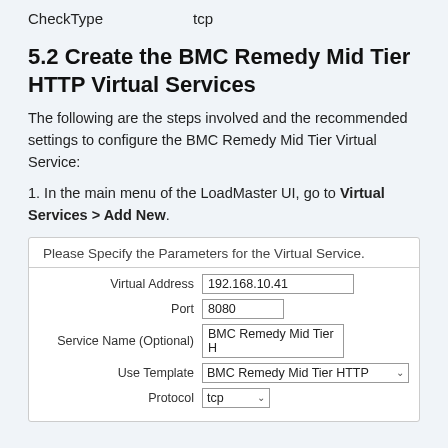CheckType    tcp
5.2 Create the BMC Remedy Mid Tier HTTP Virtual Services
The following are the steps involved and the recommended settings to configure the BMC Remedy Mid Tier Virtual Service:
1. In the main menu of the LoadMaster UI, go to Virtual Services > Add New.
[Figure (screenshot): UI form panel titled 'Please Specify the Parameters for the Virtual Service.' with fields: Virtual Address: 192.168.10.41, Port: 8080, Service Name (Optional): BMC Remedy Mid Tier H, Use Template: BMC Remedy Mid Tier HTTP (dropdown), Protocol: tcp (dropdown)]